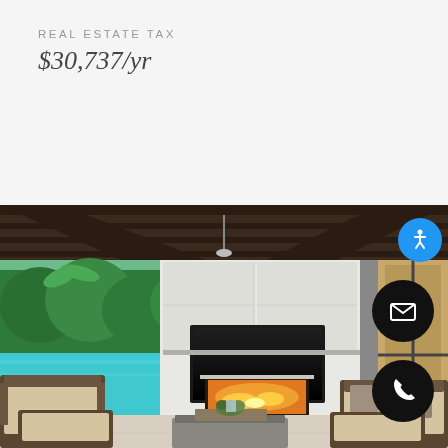REAL ESTATE TAX
$30,737/yr
[Figure (photo): Interior living room of a luxury home featuring a white fireplace wall with built-in TV, dark wood vaulted ceiling with exposed beams, wicker furniture with beige cushions, a coffee table with centerpiece, and a view through large windows to a pool and tropical garden. A pool with turquoise water is visible through a large opening on the left.]